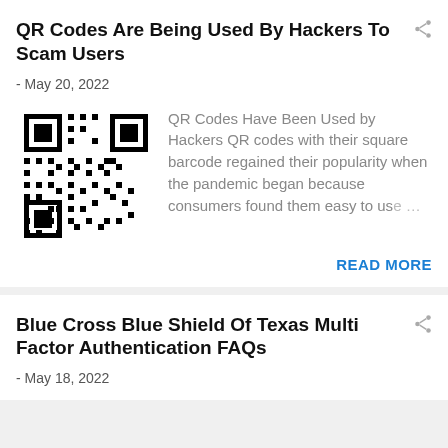QR Codes Are Being Used By Hackers To Scam Users
- May 20, 2022
[Figure (other): QR code image for article about hackers using QR codes to scam users]
QR Codes Have Been Used by Hackers QR codes with their square barcode regained their popularity when the pandemic began because consumers found them easy to us…
READ MORE
Blue Cross Blue Shield Of Texas Multi Factor Authentication FAQs
- May 18, 2022